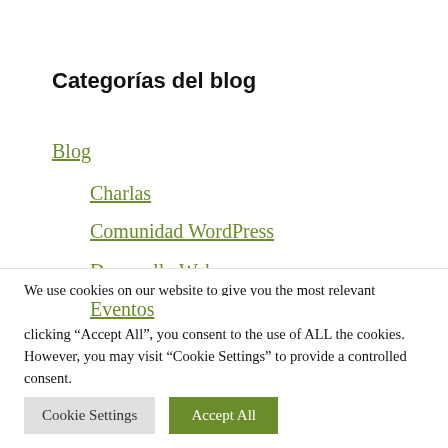Categorías del blog
Blog
Charlas
Comunidad WordPress
Desarrollo Web
Eventos
We use cookies on our website to give you the most relevant experience by remembering your preferences and repeat visits. By clicking “Accept All”, you consent to the use of ALL the cookies. However, you may visit “Cookie Settings” to provide a controlled consent.
Cookie Settings
Accept All